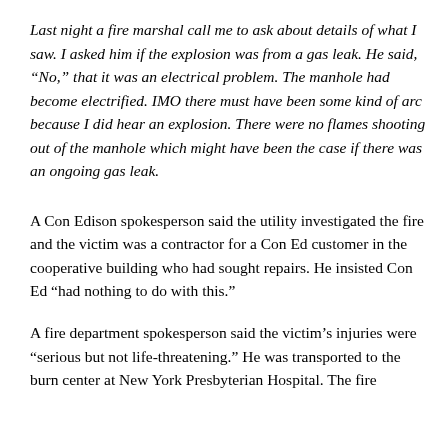Last night a fire marshal call me to ask about details of what I saw. I asked him if the explosion was from a gas leak. He said, “No,” that it was an electrical problem. The manhole had become electrified. IMO there must have been some kind of arc because I did hear an explosion. There were no flames shooting out of the manhole which might have been the case if there was an ongoing gas leak.
A Con Edison spokesperson said the utility investigated the fire and the victim was a contractor for a Con Ed customer in the cooperative building who had sought repairs. He insisted Con Ed “had nothing to do with this.”
A fire department spokesperson said the victim’s injuries were “serious but not life-threatening.” He was transported to the burn center at New York Presbyterian Hospital. The fire